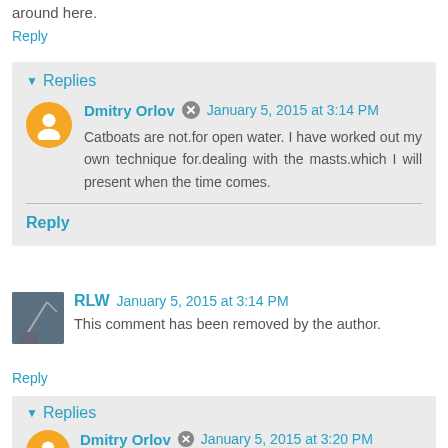around here.
Reply
Replies
Dmitry Orlov  January 5, 2015 at 3:14 PM
Catboats are not.for open water. I have worked out my own technique for.dealing with the masts.which I will present when the time comes.
Reply
RLW  January 5, 2015 at 3:14 PM
This comment has been removed by the author.
Reply
Replies
Dmitry Orlov  January 5, 2015 at 3:20 PM